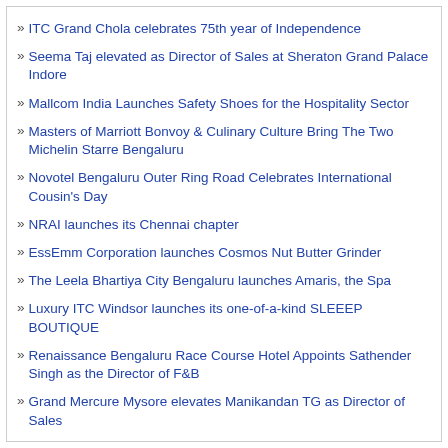ITC Grand Chola celebrates 75th year of Independence
Seema Taj elevated as Director of Sales at Sheraton Grand Palace Indore
Mallcom India Launches Safety Shoes for the Hospitality Sector
Masters of Marriott Bonvoy & Culinary Culture Bring The Two Michelin Starre Bengaluru
Novotel Bengaluru Outer Ring Road Celebrates International Cousin's Day
NRAI launches its Chennai chapter
EssEmm Corporation launches Cosmos Nut Butter Grinder
The Leela Bhartiya City Bengaluru launches Amaris, the Spa
Luxury ITC Windsor launches its one-of-a-kind SLEEEP BOUTIQUE
Renaissance Bengaluru Race Course Hotel Appoints Sathender Singh as the Director of F&B
Grand Mercure Mysore elevates Manikandan TG as Director of Sales
Convin launches assisted selling platform that improves booking rates for hos
Mercure Hyderabad KCP brings Thai-RRIFIC culinary extravaganza at 'Terra
Courtyard and Fairfield by Marriott Bengaluru ORR appoints K.L. Ramakrishn Engineer